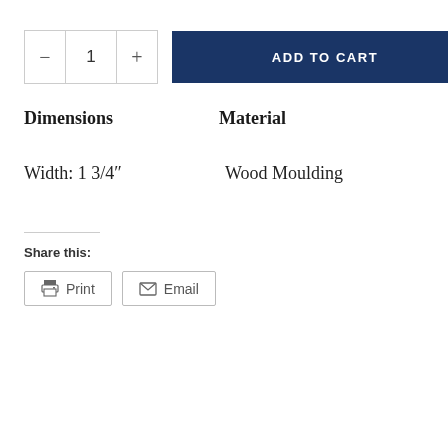[Figure (other): Quantity selector with minus button, quantity of 1, and plus button, followed by an ADD TO CART button in dark navy blue]
Dimensions
Material
Width: 1 3/4"
Wood Moulding
Share this:
[Figure (other): Print button with printer icon and Email button with envelope icon]